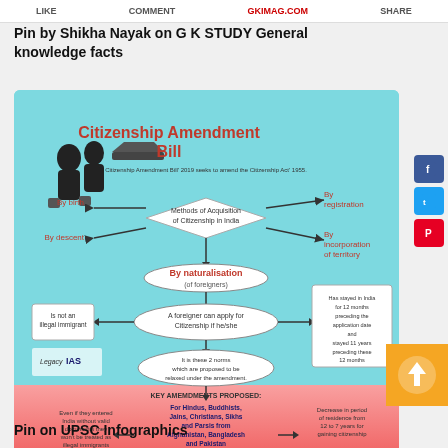LIKE   COMMENT   GKIMAG.COM   SHARE
Pin by Shikha Nayak on G K STUDY General knowledge facts
[Figure (flowchart): Citizenship Amendment Bill infographic showing Methods of Acquisition of Citizenship in India (By birth, By descent, By registration, By incorporation of territory, By naturalisation of foreigners). A foreigner can apply for Citizenship if he/she: is not an illegal immigrant, has stayed in India for 12 months preceding the application date and stayed 11 years preceding these 12 months (i.e., 12 years in total). Key amendments proposed: For Hindus, Buddhists, Jains, Christians, Sikhs and Parsis from Afghanistan, Bangladesh and Pakistan — Even if they entered India without valid documents they won't be treated as illegal immigrants — Decrease in period of residence from 12 to 7 years for gaining citizenship. Legacy IAS logo shown.]
Pin on UPSC Infographics